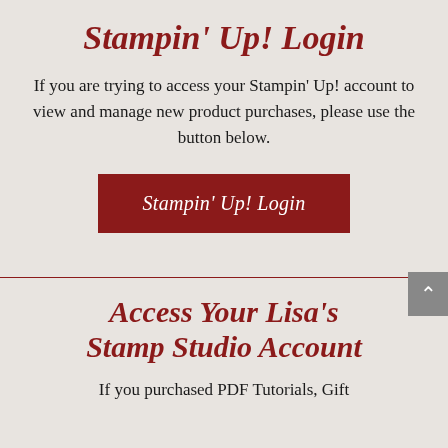Stampin' Up! Login
If you are trying to access your Stampin' Up! account to view and manage new product purchases, please use the button below.
[Figure (other): Dark red button labeled 'Stampin' Up! Login']
[Figure (other): Gray scroll-to-top button with upward chevron arrow]
Access Your Lisa's Stamp Studio Account
If you purchased PDF Tutorials, Gift